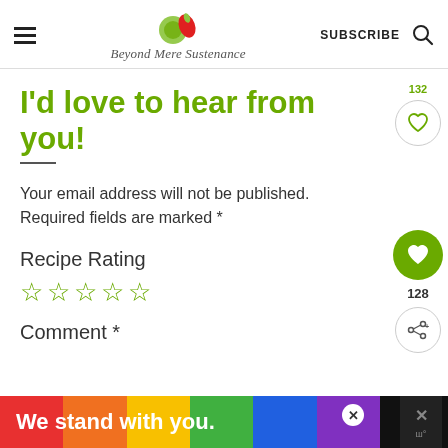Beyond Mere Sustenance — SUBSCRIBE
I'd love to hear from you!
Your email address will not be published. Required fields are marked *
Recipe Rating
☆☆☆☆☆
Comment *
We stand with you.